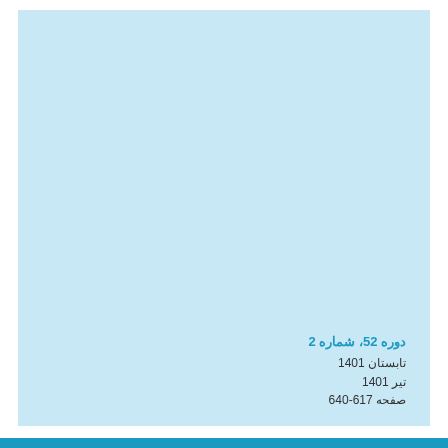[Figure (other): Large light blue rectangular background panel filling most of the page]
دوره 52، شماره 2
تابستان 1401
تیر 1401
صفحه 617-640